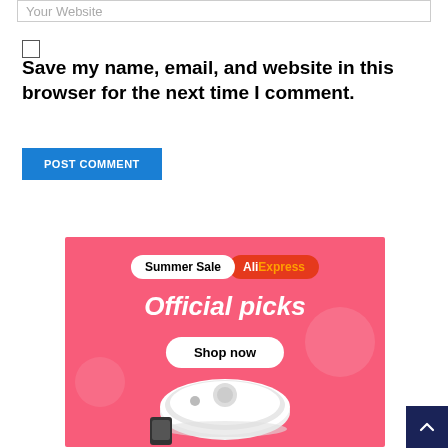Your Website
Save my name, email, and website in this browser for the next time I comment.
POST COMMENT
[Figure (illustration): AliExpress Summer Sale advertisement banner with pink background showing 'Summer Sale AliExpress Official picks Shop now' text and a robot vacuum cleaner product image]